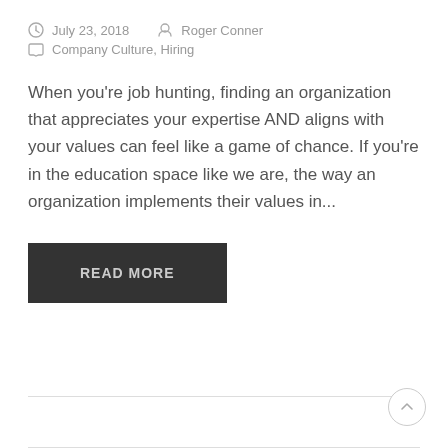July 23, 2018   Roger Conner
Company Culture, Hiring
When you're job hunting, finding an organization that appreciates your expertise AND aligns with your values can feel like a game of chance. If you're in the education space like we are, the way an organization implements their values in...
READ MORE